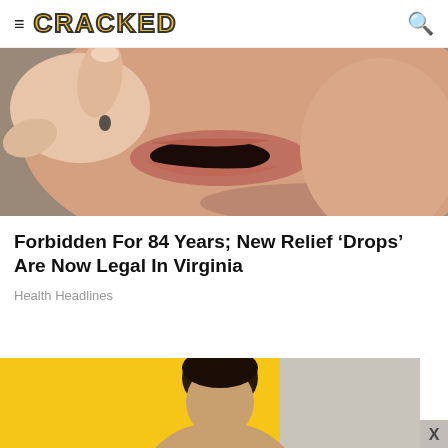CRACKED
[Figure (photo): Close-up photo of a hand placing something small into an open mouth, bathroom background visible]
Forbidden For 84 Years; New Relief ‘Drops’ Are Now Legal In Virginia
Health Headlines
[Figure (photo): Advertisement banner with yellow background showing a person’s head, with an X close button on the right]